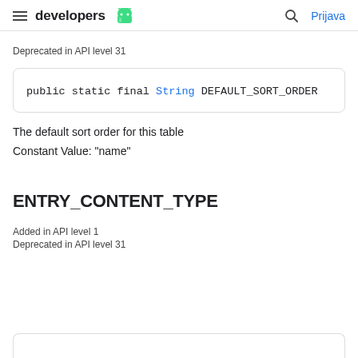developers  Prijava
Deprecated in API level 31
The default sort order for this table
Constant Value: "name"
ENTRY_CONTENT_TYPE
Added in API level 1
Deprecated in API level 31